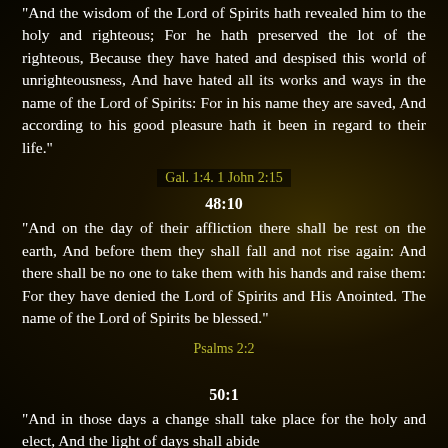"And the wisdom of the Lord of Spirits hath revealed him to the holy and righteous; For he hath preserved the lot of the righteous, Because they have hated and despised this world of unrighteousness, And have hated all its works and ways in the name of the Lord of Spirits: For in his name they are saved, And according to his good pleasure hath it been in regard to their life."
Gal. 1:4. 1 John 2:15
48:10
"And on the day of their affliction there shall be rest on the earth, And before them they shall fall and not rise again: And there shall be no one to take them with his hands and raise them: For they have denied the Lord of Spirits and His Anointed. The name of the Lord of Spirits be blessed."
Psalms 2:2
50:1
"And in those days a change shall take place for the holy and elect, And the light of days shall abide